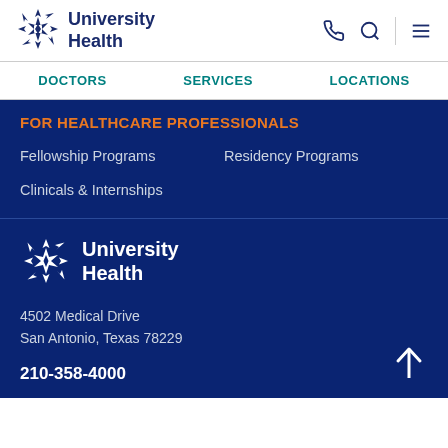[Figure (logo): University Health logo with star/snowflake icon and text 'University Health' in dark blue]
DOCTORS   SERVICES   LOCATIONS
FOR HEALTHCARE PROFESSIONALS
Fellowship Programs
Residency Programs
Clinicals & Internships
[Figure (logo): University Health footer logo with star/snowflake icon in white and text 'University Health']
4502 Medical Drive
San Antonio, Texas 78229
210-358-4000